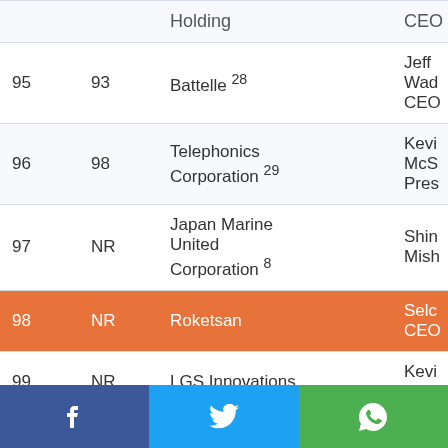| Rank | Prev | Company | Contact |
| --- | --- | --- | --- |
|  |  | Holding | CEO |
| 95 | 93 | Battelle 28 | Jeff Wad CEO |
| 96 | 98 | Telephonics Corporation 29 | Kevi McS Pres |
| 97 | NR | Japan Marine United Corporation 8 | Shin Mish |
| 98 | NR | Roketsan | Selc CEO |
| 99 | NR | LGS Innovations | Kevi CEO |
| 100 | 88 | IHI Corporation 8 | Tami Saito |
[Figure (infographic): Social media share bar with Facebook, Twitter, and WhatsApp icons]